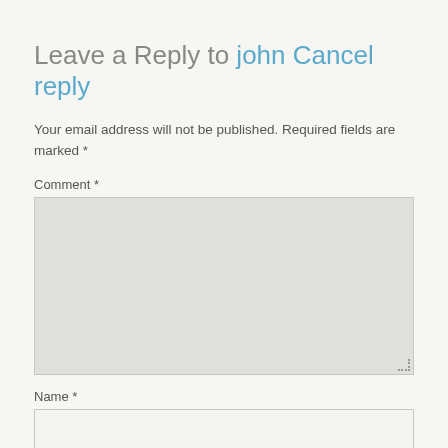Leave a Reply to john Cancel reply
Your email address will not be published. Required fields are marked *
Comment *
[Figure (other): Large comment text area input box with light gray background and resize handle]
Name *
[Figure (other): Name text input field, single line, light background]
Email *